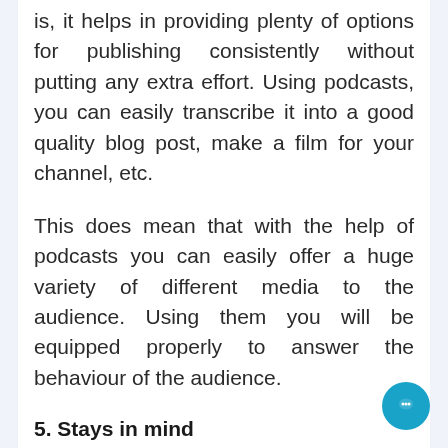is, it helps in providing plenty of options for publishing consistently without putting any extra effort. Using podcasts, you can easily transcribe it into a good quality blog post, make a film for your channel, etc.
This does mean that with the help of podcasts you can easily offer a huge variety of different media to the audience. Using them you will be equipped properly to answer the behaviour of the audience.
5. Stays in mind